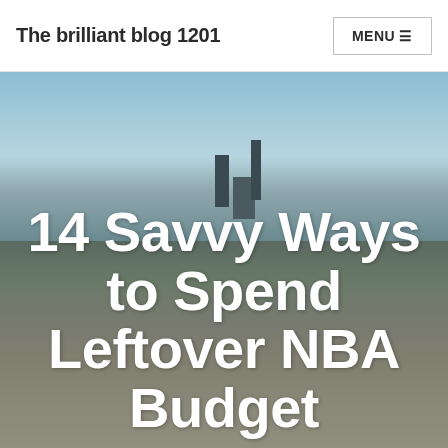The brilliant blog 1201
[Figure (photo): Outdoor rooftop or airfield scene with a blurred background showing industrial structures or chimneys silhouetted against a blue sky, with a flat ground surface in the foreground.]
14 Savvy Ways to Spend Leftover NBA Budget